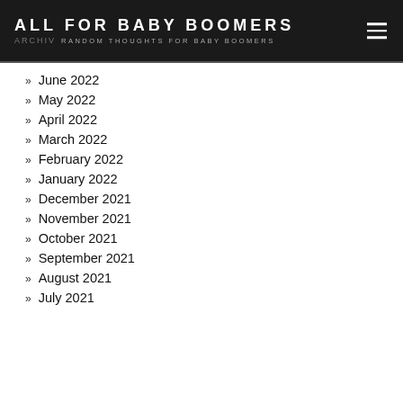ALL FOR BABY BOOMERS — RANDOM THOUGHTS FOR BABY BOOMERS — ARCHIVES
June 2022
May 2022
April 2022
March 2022
February 2022
January 2022
December 2021
November 2021
October 2021
September 2021
August 2021
July 2021